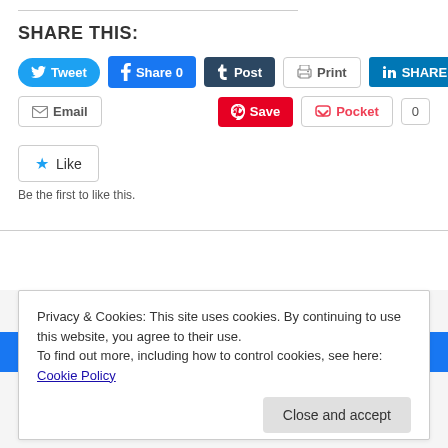SHARE THIS:
[Figure (screenshot): Social sharing buttons row 1: Tweet, Share 0, Post, Print, SHARE]
[Figure (screenshot): Social sharing buttons row 2: Email, Save (Pinterest), Pocket with count 0]
[Figure (screenshot): Like button with star icon]
Be the first to like this.
Privacy & Cookies: This site uses cookies. By continuing to use this website, you agree to their use. To find out more, including how to control cookies, see here: Cookie Policy
Close and accept